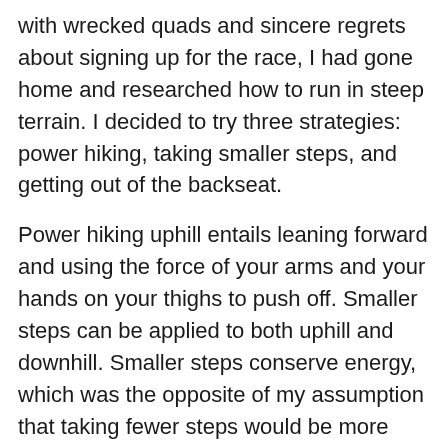with wrecked quads and sincere regrets about signing up for the race, I had gone home and researched how to run in steep terrain. I decided to try three strategies: power hiking, taking smaller steps, and getting out of the backseat.
Power hiking uphill entails leaning forward and using the force of your arms and your hands on your thighs to push off. Smaller steps can be applied to both uphill and downhill. Smaller steps conserve energy, which was the opposite of my assumption that taking fewer steps would be more efficient. Also, when I remembered to, I consciously touched down my heels with each step so that I wasn't balancing on my toes and overtaxing my calves.
When running downhill, keeping your feet under your center of gravity and taking smaller steps helps you